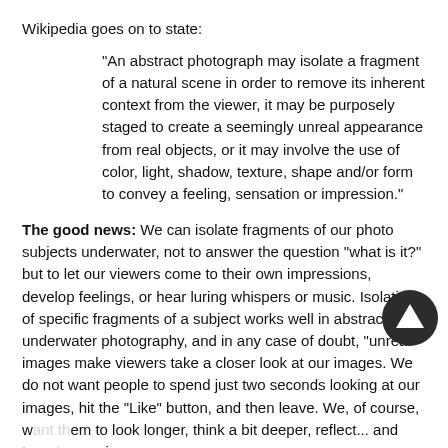Wikipedia goes on to state:
"An abstract photograph may isolate a fragment of a natural scene in order to remove its inherent context from the viewer, it may be purposely staged to create a seemingly unreal appearance from real objects, or it may involve the use of color, light, shadow, texture, shape and/or form to convey a feeling, sensation or impression."
The good news: We can isolate fragments of our photo subjects underwater, not to answer the question “what is it?” but to let our viewers come to their own impressions, develop feelings, or hear luring whispers or music. Isolation of specific fragments of a subject works well in abstract underwater photography, and in any case of doubt, "unreal" images make viewers take a closer look at our images. We do not want people to spend just two seconds looking at our images, hit the "Like" button, and then leave. We, of course, want them to look longer, think a bit deeper, reflect... and turn the music on.
[Figure (other): Dark circular navigation/scroll icon with an upward-pointing triangle/arrow symbol, partially overlapping the text at the bottom right.]